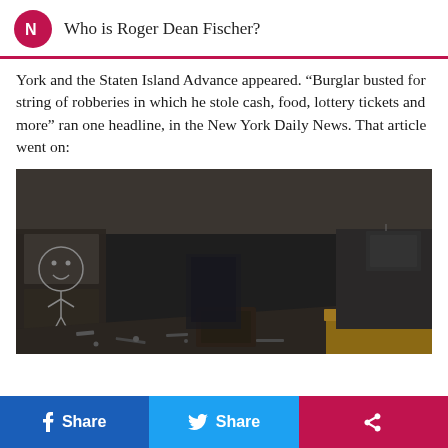Who is Roger Dean Fischer?
York and the Staten Island Advance appeared. “Burglar busted for string of robberies in which he stole cash, food, lottery tickets and more” ran one headline, in the New York Daily News. That article went on:
[Figure (photo): Interior of a dark, ransacked room/store with debris on the floor, overturned furniture, wooden plank in foreground, and smiley face drawing visible on left wall panels.]
f Share   Share   [share icon]